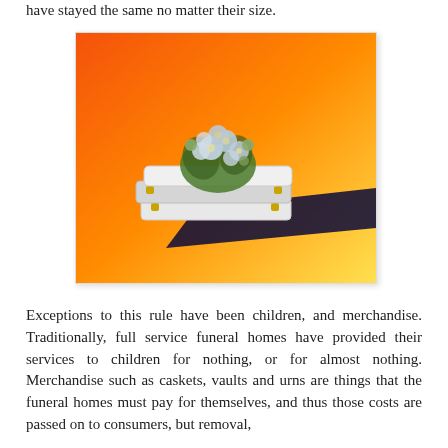have stayed the same no matter their size.
[Figure (photo): A white casket with floral arrangement on top, set against an orange-to-yellow gradient background with a dark shadow extending to the right.]
Exceptions to this rule have been children, and merchandise. Traditionally, full service funeral homes have provided their services to children for nothing, or for almost nothing. Merchandise such as caskets, vaults and urns are things that the funeral homes must pay for themselves, and thus those costs are passed on to consumers, but removal,